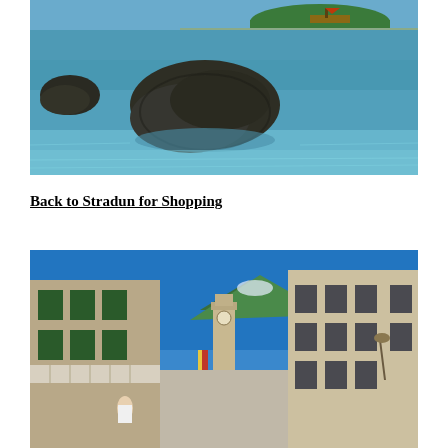[Figure (photo): Coastal scene with large dark rocks in clear blue-turquoise water, a boat visible in the background, and a green island in the distance under blue sky.]
Back to Stradun for Shopping
[Figure (photo): Street view of Stradun (Placa), the main pedestrian street in Dubrovnik's old town, flanked by stone buildings with green shutters and shops, a bell tower visible at the far end under a deep blue sky.]